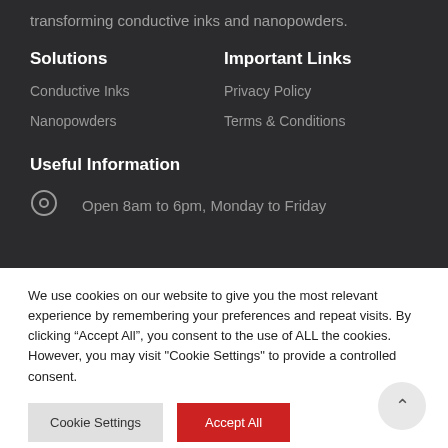transforming conductive inks and nanopowders.
Solutions
Important Links
Conductive Inks
Privacy Policy
Nanopowders
Terms & Conditions
Useful Information
Open 8am to 6pm, Monday to Friday
We use cookies on our website to give you the most relevant experience by remembering your preferences and repeat visits. By clicking “Accept All”, you consent to the use of ALL the cookies. However, you may visit "Cookie Settings" to provide a controlled consent.
Cookie Settings
Accept All